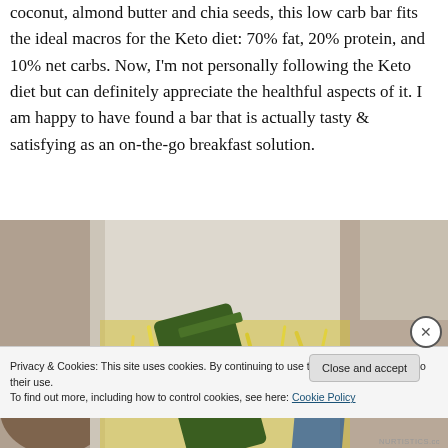coconut, almond butter and chia seeds, this low carb bar fits the ideal macros for the Keto diet: 70% fat, 20% protein, and 10% net carbs. Now, I'm not personally following the Keto diet but can definitely appreciate the healthful aspects of it. I am happy to have found a bar that is actually tasty & satisfying as an on-the-go breakfast solution.
[Figure (photo): An open box containing a green-labeled nutrition bar surrounded by yellow shredded paper packing material, viewed from above on a counter surface.]
Privacy & Cookies: This site uses cookies. By continuing to use this website, you agree to their use.
To find out more, including how to control cookies, see here: Cookie Policy
Close and accept
NURTISTICS.cc